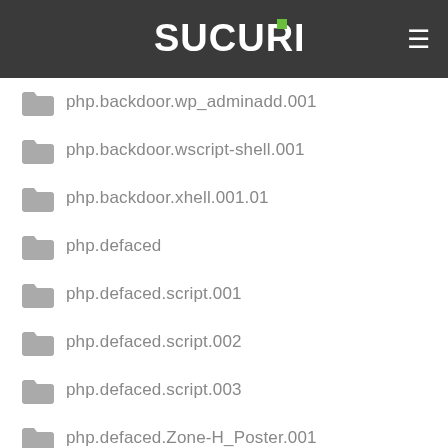Sucuri
php.backdoor.wp_adminadd.001
php.backdoor.wscript-shell.001
php.backdoor.xhell.001.01
php.defaced
php.defaced.script.001
php.defaced.script.002
php.defaced.script.003
php.defaced.Zone-H_Poster.001
php.dropper
php.dropper.basta.001